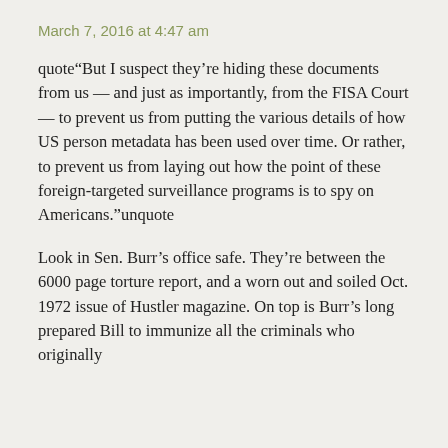March 7, 2016 at 4:47 am
quote“But I suspect they’re hiding these documents from us — and just as importantly, from the FISA Court — to prevent us from putting the various details of how US person metadata has been used over time. Or rather, to prevent us from laying out how the point of these foreign-targeted surveillance programs is to spy on Americans.”unquote
Look in Sen. Burr’s office safe. They’re between the 6000 page torture report, and a worn out and soiled Oct. 1972 issue of Hustler magazine. On top is Burr’s long prepared Bill to immunize all the criminals who originally